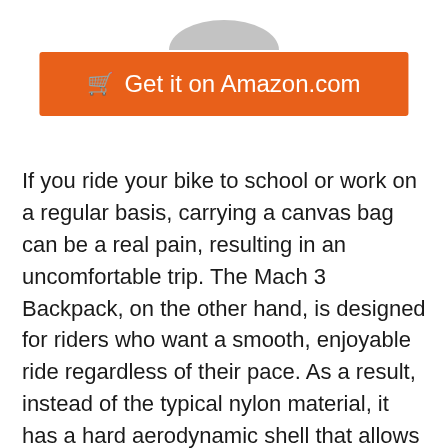[Figure (other): Partially visible product image at the top of the page (cropped, only bottom portion visible)]
🛒 Get it on Amazon.com
If you ride your bike to school or work on a regular basis, carrying a canvas bag can be a real pain, resulting in an uncomfortable trip. The Mach 3 Backpack, on the other hand, is designed for riders who want a smooth, enjoyable ride regardless of their pace. As a result, instead of the typical nylon material, it has a hard aerodynamic shell that allows for a more streamlined